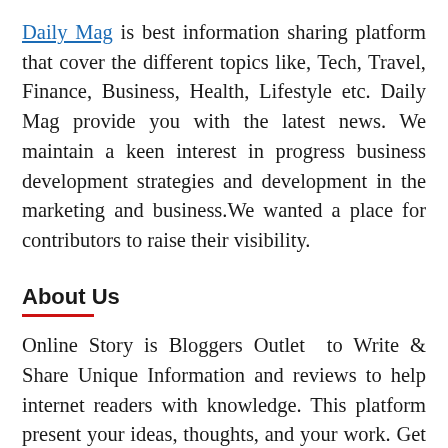Daily Mag is best information sharing platform that cover the different topics like, Tech, Travel, Finance, Business, Health, Lifestyle etc. Daily Mag provide you with the latest news. We maintain a keen interest in progress business development strategies and development in the marketing and business.We wanted a place for contributors to raise their visibility.
About Us
Online Story is Bloggers Outlet  to Write & Share Unique Information and reviews to help internet readers with knowledge. This platform present your ideas, thoughts, and your work. Get an exposure to show your innovation to an entire world. We w a place to contribute to the knowledge base to be a part